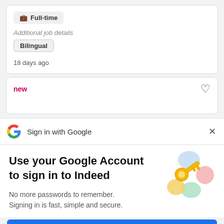Full-time
Additional job details
Bilingual
18 days ago
new
Sign in with Google
Use your Google Account to sign in to Indeed
No more passwords to remember. Signing in is fast, simple and secure.
[Figure (illustration): Colorful key illustration with circles for Google sign-in]
Continue